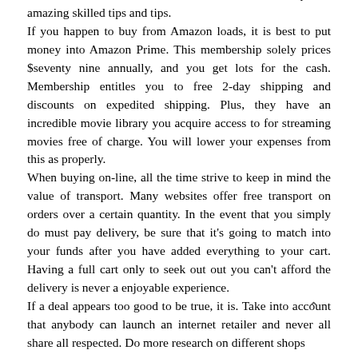a must to do first? Read this article in full to soak up it is amazing skilled tips and tips.
If you happen to buy from Amazon loads, it is best to put money into Amazon Prime. This membership solely prices $seventy nine annually, and you get lots for the cash. Membership entitles you to free 2-day shipping and discounts on expedited shipping. Plus, they have an incredible movie library you acquire access to for streaming movies free of charge. You will lower your expenses from this as properly.
When buying on-line, all the time strive to keep in mind the value of transport. Many websites offer free transport on orders over a certain quantity. In the event that you simply do must pay delivery, be sure that it's going to match into your funds after you have added everything to your cart. Having a full cart only to seek out out you can't afford the delivery is never a enjoyable experience.
If a deal appears too good to be true, it is. Take into account that anybody can launch an internet retailer and never all share all respected. Do more research on different shops